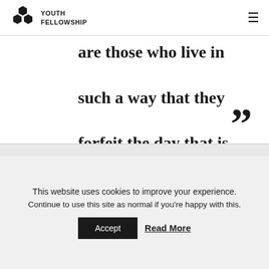YOUTH FELLOWSHIP
are those who live in such a way that they forfeit the day that is eternal (De Verbo Domini,Sermon 64)
This website uses cookies to improve your experience. Continue to use this site as normal if you're happy with this. Accept  Read More